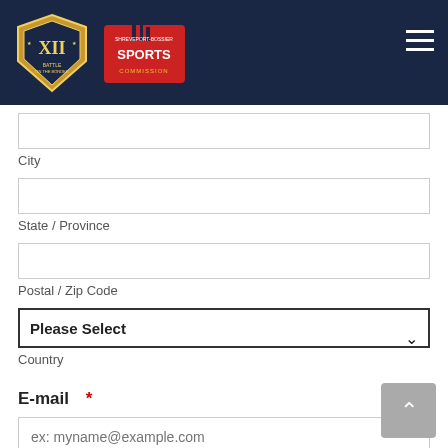[Figure (logo): Dark navy header bar with two logos: Battle on the Border football game logo on the left and Shreveport-Bossier Sports Commission logo next to it, with hamburger menu icon on the right]
City
State / Province
Postal / Zip Code
Please Select
Country
E-mail *
ex: myname@example.com
Work Phone